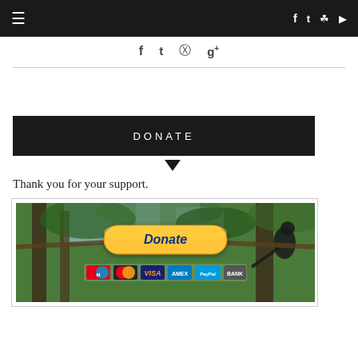≡  f  t  (instagram)  (youtube)
f  t  (pinterest)  g+
DONATE
Thank you for your support.
[Figure (screenshot): PayPal donation button with payment logos (Maestro, Mastercard, Visa, Amex, PayPal, Bank) overlaid on a jungle/tree background with a lemur]